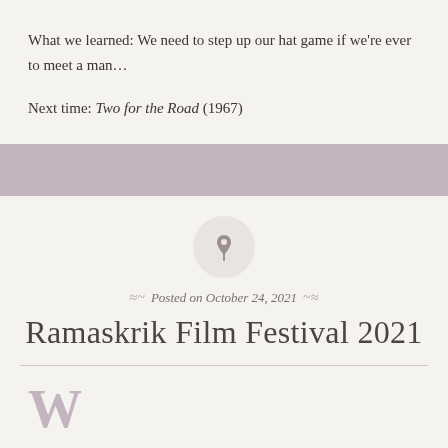What we learned: We need to step up our hat game if we're ever to meet a man…
Next time: Two for the Road (1967)
[Figure (other): Decorative purple/mauve horizontal banner divider bar]
[Figure (other): Pin/thumbtack icon inside a light gray circle]
Posted on October 24, 2021
Ramaskrik Film Festival 2021
W...